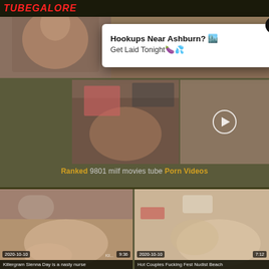TUBEGALORE
[Figure (screenshot): Adult video website screenshot with thumbnails and ad overlay]
Hookups Near Ashburn? 🏙️ Get Laid Tonight🍆💦
Ranked 9801 milf movies tube Porn Videos
2020-10-10  9:36  Killergram Sienna Day is a nasty nurse
2020-10-10  7:12  Hot Couples Fucking Fest Nudist Beach